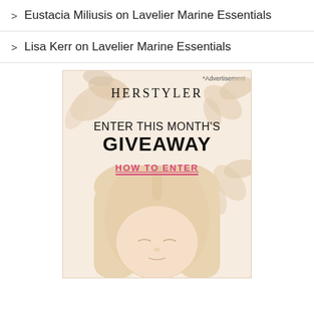> Eustacia Miliusis on Lavelier Marine Essentials
> Lisa Kerr on Lavelier Marine Essentials
[Figure (illustration): Herstyler advertisement banner featuring a woman with blonde hair and eyes closed, surrounded by floral petal decorations on a cream/peach background. Text reads HERSTYLER, ENTER THIS MONTH'S GIVEAWAY, HOW TO ENTER. Labeled as *Advertisement.]